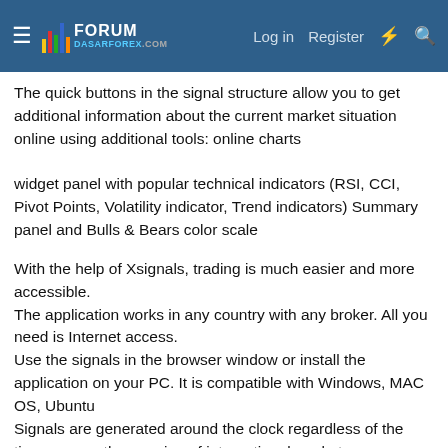DasarForex Forum — Log in | Register
The quick buttons in the signal structure allow you to get additional information about the current market situation online using additional tools: online charts
widget panel with popular technical indicators (RSI, CCI, Pivot Points, Volatility indicator, Trend indicators) Summary panel and Bulls & Bears color scale
With the help of Xsignals, trading is much easier and more accessible.
The application works in any country with any broker. All you need is Internet access.
Use the signals in the browser window or install the application on your PC. It is compatible with Windows, MAC OS, Ubuntu
Signals are generated around the clock regardless of the time zone or the opening of international markets
In the blog, trading strategies, instructions, and training materials are available for you for free, which are adapted for